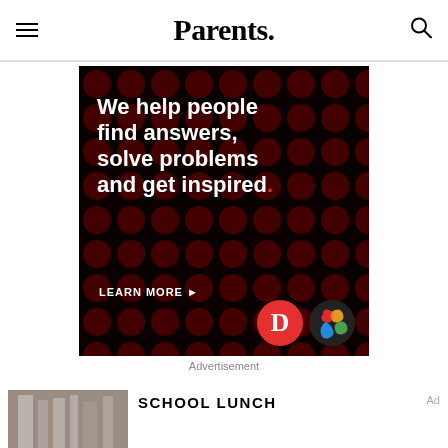Parents.
[Figure (other): Advertisement banner: black background with dark red polka dots. White bold text reads 'We help people find answers, solve problems and get inspired.' with a red period. Below: 'LEARN MORE ►'. Bottom right shows a red circle with white D logo and a colorful interlocking squares logo (Dotdash Meredith).]
Advertisement
SCHOOL LUNCH
[Figure (other): Small banner ad at the bottom: black background with text 'We help people find answers, solve problems and get inspired.' and Dotdash Meredith logos on the right.]